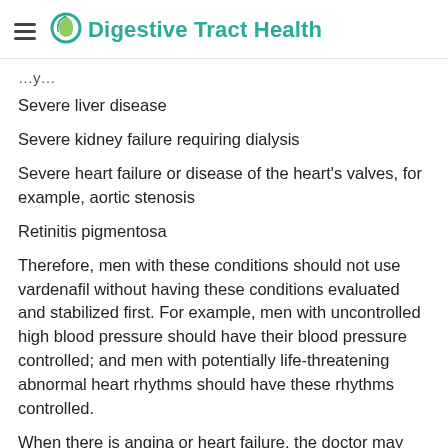Digestive Tract Health
Severe liver disease
Severe kidney failure requiring dialysis
Severe heart failure or disease of the heart's valves, for example, aortic stenosis
Retinitis pigmentosa
Therefore, men with these conditions should not use vardenafil without having these conditions evaluated and stabilized first. For example, men with uncontrolled high blood pressure should have their blood pressure controlled; and men with potentially life-threatening abnormal heart rhythms should have these rhythms controlled.
When there is angina or heart failure, the doctor may need to determine whether the heart has enough